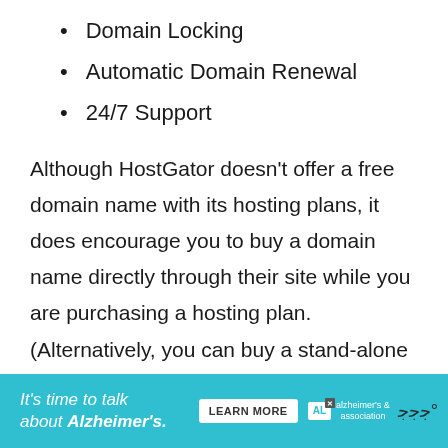Domain Locking
Automatic Domain Renewal
24/7 Support
Although HostGator doesn't offer a free domain name with its hosting plans, it does encourage you to buy a domain name directly through their site while you are purchasing a hosting plan. (Alternatively, you can buy a stand-alone domain name from HostGator a…
[Figure (infographic): Alzheimer's Association advertisement banner with teal background. Text reads: It's time to talk about Alzheimer's. LEARN MORE button. Alzheimer's association logo. Three dots icon.]